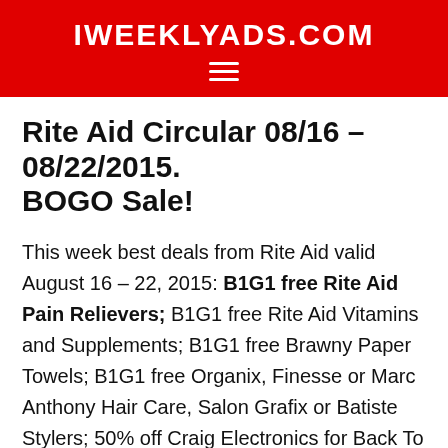IWEEKLYADS.COM
Rite Aid Circular 08/16 – 08/22/2015. BOGO Sale!
This week best deals from Rite Aid valid August 16 – 22, 2015: B1G1 free Rite Aid Pain Relievers; B1G1 free Rite Aid Vitamins and Supplements; B1G1 free Brawny Paper Towels; B1G1 free Organix, Finesse or Marc Anthony Hair Care, Salon Grafix or Batiste Stylers; 50% off Craig Electronics for Back To School; $4.99 Select Copy Paper; $19.99 Select